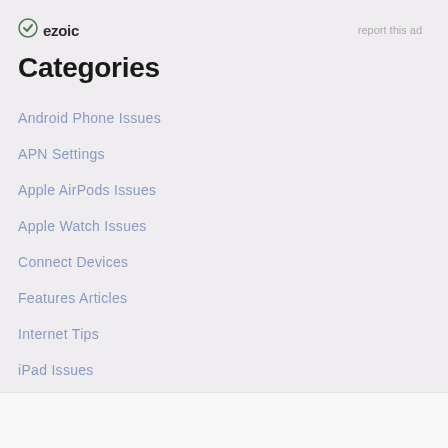ezoic   report this ad
Categories
Android Phone Issues
APN Settings
Apple AirPods Issues
Apple Watch Issues
Connect Devices
Features Articles
Internet Tips
iPad Issues
iPhone Issues